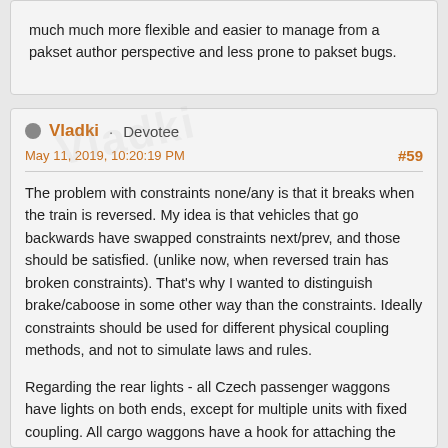much much more flexible and easier to manage from a pakset author perspective and less prone to pakset bugs.
Vladki · Devotee
May 11, 2019, 10:20:19 PM
#59
The problem with constraints none/any is that it breaks when the train is reversed. My idea is that vehicles that go backwards have swapped constraints next/prev, and those should be satisfied. (unlike now, when reversed train has broken constraints). That's why I wanted to distinguish brake/caboose in some other way than the constraints. Ideally constraints should be used for different physical coupling methods, and not to simulate laws and rules.
Regarding the rear lights - all Czech passenger waggons have lights on both ends, except for multiple units with fixed coupling. All cargo waggons have a hook for attaching the reflector sign. But I do not know if there used to be some rules about caboose 100 years ago...